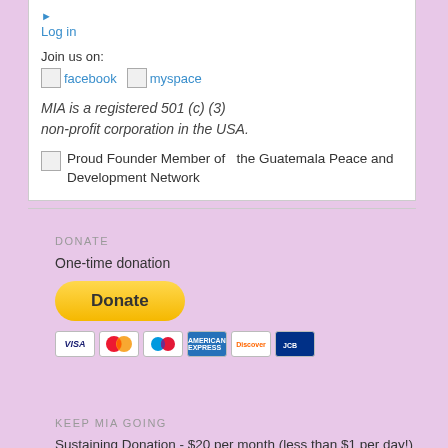Log in
Join us on:
facebook   myspace
MIA is a registered 501 (c) (3) non-profit corporation in the USA.
Proud Founder Member of the Guatemala Peace and Development Network
DONATE
One-time donation
[Figure (other): PayPal Donate button with credit card icons (Visa, Mastercard, Maestro, Amex, Discover, JCB)]
KEEP MIA GOING
Sustaining Donation - $20 per month (less than $1 per day!)
[Figure (other): PayPal Subscribe button]